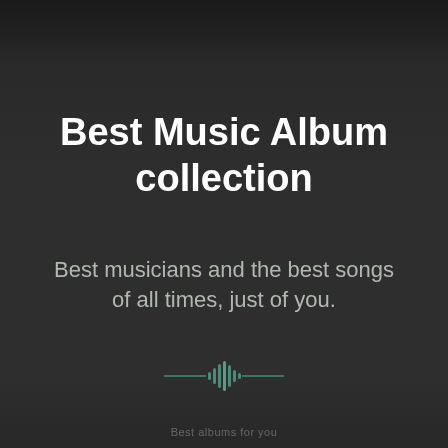Best Music Album collection
Best musicians and the best songs of all times, just of you.
[Figure (illustration): Teal/green audio waveform icon with horizontal lines on both sides, centered on the page]
Best albums for you